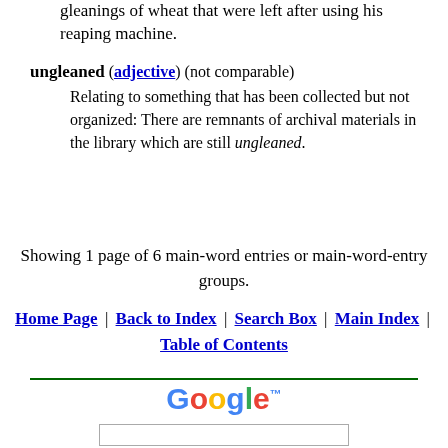gleanings of wheat that were left after using his reaping machine.
ungleaned (adjective) (not comparable) Relating to something that has been collected but not organized: There are remnants of archival materials in the library which are still ungleaned.
Showing 1 page of 6 main-word entries or main-word-entry groups.
Home Page | Back to Index | Search Box | Main Index | Table of Contents
[Figure (other): Google search widget with logo, text input, Search button, and Web Search / Word Info Search radio buttons]